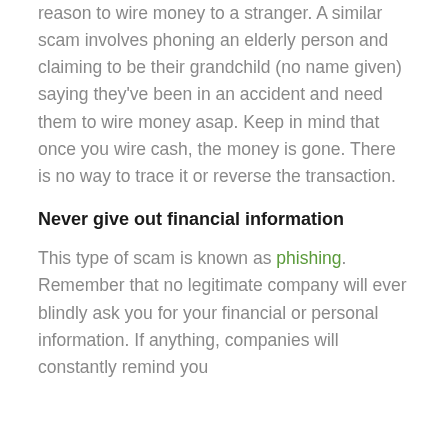reason to wire money to a stranger. A similar scam involves phoning an elderly person and claiming to be their grandchild (no name given) saying they've been in an accident and need them to wire money asap. Keep in mind that once you wire cash, the money is gone. There is no way to trace it or reverse the transaction.
Never give out financial information
This type of scam is known as phishing. Remember that no legitimate company will ever blindly ask you for your financial or personal information. If anything, companies will constantly remind you